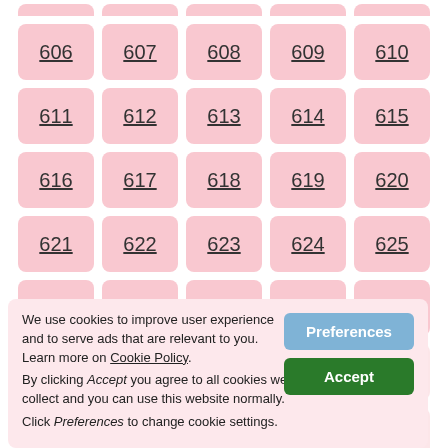[Figure (other): Grid of numbered pink rounded rectangle links, numbers 606-640+, partially covered by a cookie consent banner]
We use cookies to improve user experience and to serve ads that are relevant to you. Learn more on Cookie Policy.
By clicking Accept you agree to all cookies we collect and you can use this website normally.
Click Preferences to change cookie settings.